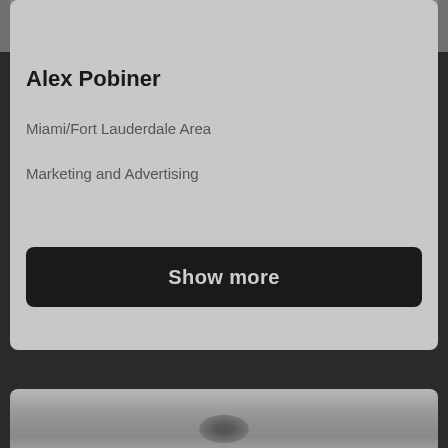[Figure (screenshot): Top portion of a profile image, dark gray background with rounded bottom corners]
Menu
Alex Pobiner
Miami/Fort Lauderdale Area
Marketing and Advertising
Show more
[Figure (photo): Bottom portion of a photo, showing a dark curved object against a gray background]